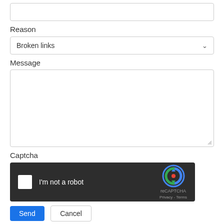[Figure (screenshot): An empty text input field at the top of a web form]
Reason
[Figure (screenshot): A dropdown select input showing 'Broken links' with a chevron arrow on the right]
Message
[Figure (screenshot): A large empty textarea for a message, with a resize handle in the bottom-right corner]
Captcha
[Figure (screenshot): reCAPTCHA widget on dark background with checkbox, 'I'm not a robot' text, and reCAPTCHA logo with Privacy and Terms links]
[Figure (screenshot): Two buttons: a blue 'Send' button and a white 'Cancel' button]